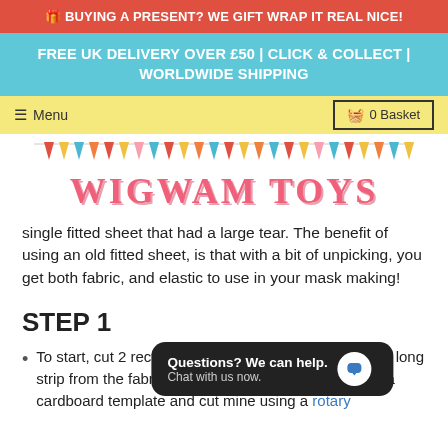🎁 BUYING A PRESENT? WE GIFT WRAP IT REAL NICE!
FREE UK DELIVERY OVER £50 | CLICK & COLLECT | WORLDWIDE SHIPPING
☰ Menu   🧺 0 Basket
[Figure (illustration): Wigwam Toys logo with colorful bunting triangles above the text WIGWAM TOYS in pink serif font]
single fitted sheet that had a large tear. The benefit of using an old fitted sheet, is that with a bit of unpicking, you get both fabric, and elastic to use in your mask making!
STEP 1
To start, cut 2 rectangles of fabric 9x9 inches - I cut a long strip from the fabric and then folded it in half. I made a cardboard template and cut mine using a rotary